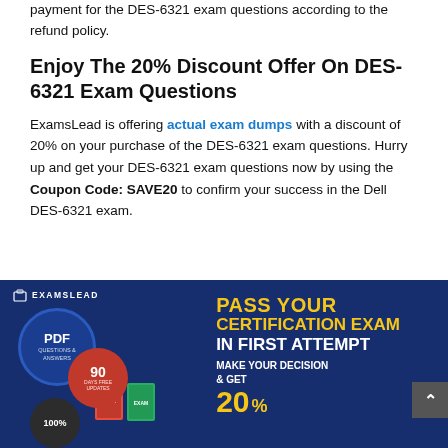payment for the DES-6321 exam questions according to the refund policy.
Enjoy The 20% Discount Offer On DES-6321 Exam Questions
ExamsLead is offering actual exam dumps with a discount of 20% on your purchase of the DES-6321 exam questions. Hurry up and get your DES-6321 exam questions now by using the Coupon Code: SAVE20 to confirm your success in the Dell DES-6321 exam.
[Figure (infographic): ExamsLead promotional banner on dark blue background. Left side shows circular badges: PDF Questions & Answers circle, 90 Days Free Updates red circle, 100% circle, and book/product mockups. Right side shows text: PASS YOUR CERTIFICATION EXAM IN FIRST ATTEMPT MAKE YOUR DECISION & GET 20%]